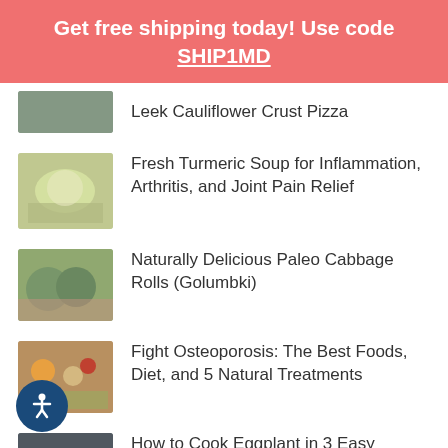Get free shipping today! Use code SHIP1MD
Leek Cauliflower Crust Pizza
Fresh Turmeric Soup for Inflammation, Arthritis, and Joint Pain Relief
Naturally Delicious Paleo Cabbage Rolls (Golumbki)
Fight Osteoporosis: The Best Foods, Diet, and 5 Natural Treatments
How to Cook Eggplant in 3 Easy Dishes for a Healthier Lifestyle